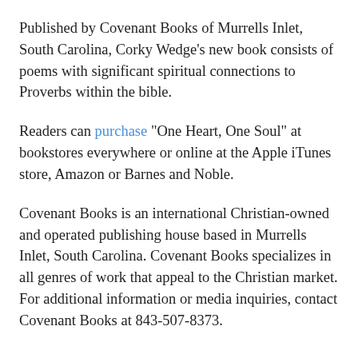Published by Covenant Books of Murrells Inlet, South Carolina, Corky Wedge's new book consists of poems with significant spiritual connections to Proverbs within the bible.
Readers can purchase "One Heart, One Soul" at bookstores everywhere or online at the Apple iTunes store, Amazon or Barnes and Noble.
Covenant Books is an international Christian-owned and operated publishing house based in Murrells Inlet, South Carolina. Covenant Books specializes in all genres of work that appeal to the Christian market. For additional information or media inquiries, contact Covenant Books at 843-507-8373.